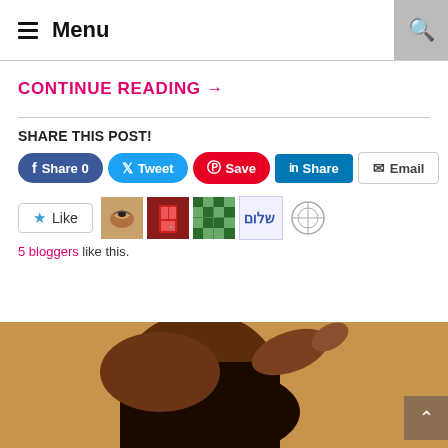☰ Menu
CONTINUE READING →
SHARE THIS POST!
Share 0 | Tweet | Save | Share | Email
5 bloggers like this.
[Figure (photo): Photo of a person from the shoulders upward, shown from behind/side angle, against a brown background, with long dark hair.]